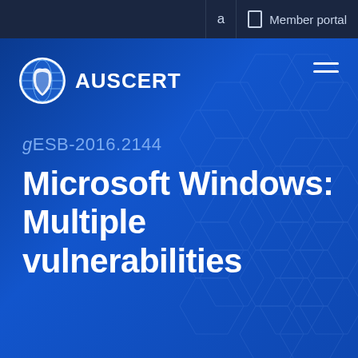a   Member portal
[Figure (logo): AusCERT globe logo with text AUSCERT]
gESB-2016.2144
Microsoft Windows: Multiple vulnerabilities